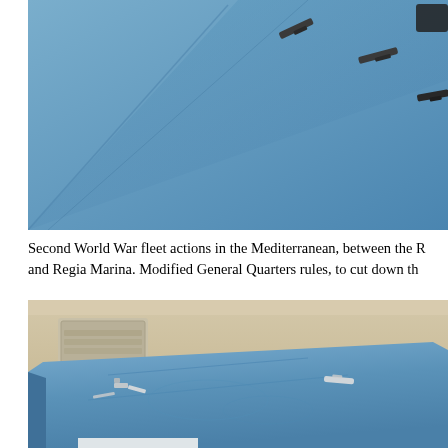[Figure (photo): Close-up overhead view of a blue cloth-covered gaming table with small naval ship miniatures placed on the surface, representing a wargame scenario.]
Second World War fleet actions in the Mediterranean, between the R and Regia Marina. Modified General Quarters rules, to cut down th
[Figure (photo): Wide-angle view of a rectangular table covered with blue cloth with small naval miniatures placed on it, set up for a naval wargame. Room interior visible in background.]